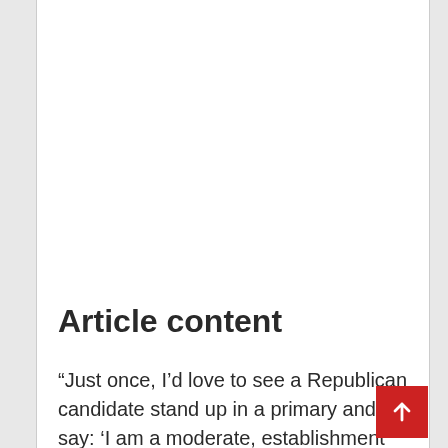Article content
“Just once, I’d love to see a Republican candidate stand up in a primary and say: ‘I am a moderate, establishment squish. I stand for absolutely